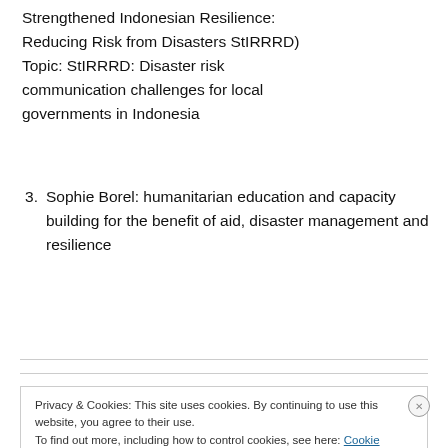Strengthened Indonesian Resilience: Reducing Risk from Disasters StIRRRD) Topic: StIRRRD: Disaster risk communication challenges for local governments in Indonesia
3. Sophie Borel: humanitarian education and capacity building for the benefit of aid, disaster management and resilience
Privacy & Cookies: This site uses cookies. By continuing to use this website, you agree to their use. To find out more, including how to control cookies, see here: Cookie Policy